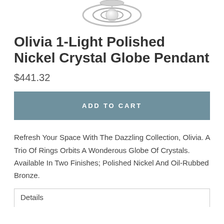[Figure (photo): Partial view of the Olivia 1-Light Polished Nickel Crystal Globe Pendant light fixture, showing rings and globe at top of the image]
Olivia 1-Light Polished Nickel Crystal Globe Pendant
$441.32
ADD TO CART
Refresh Your Space With The Dazzling Collection, Olivia. A Trio Of Rings Orbits A Wonderous Globe Of Crystals. Available In Two Finishes; Polished Nickel And Oil-Rubbed Bronze.
Details